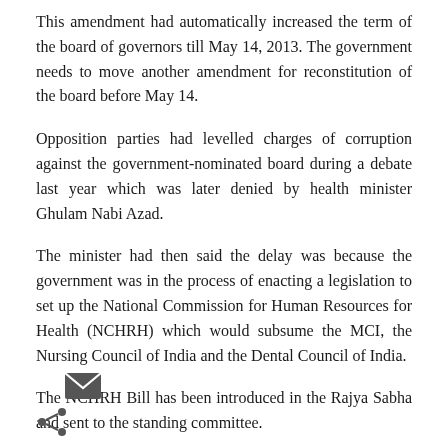This amendment had automatically increased the term of the board of governors till May 14, 2013. The government needs to move another amendment for reconstitution of the board before May 14.
Opposition parties had levelled charges of corruption against the government-nominated board during a debate last year which was later denied by health minister Ghulam Nabi Azad.
The minister had then said the delay was because the government was in the process of enacting a legislation to set up the National Commission for Human Resources for Health (NCHRH) which would subsume the MCI, the Nursing Council of India and the Dental Council of India.
The NCHRH Bill has been introduced in the Rajya Sabha and sent to the standing committee.
[Figure (illustration): Email icon (envelope) and share icon at bottom left of page]